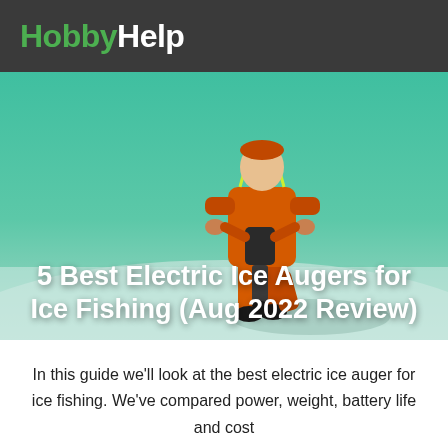HobbyHelp
[Figure (photo): Person wearing an orange suit using an electric ice auger on a frozen lake with a teal/green tinted sky background]
5 Best Electric Ice Augers for Ice Fishing (Aug 2022 Review)
In this guide we'll look at the best electric ice auger for ice fishing. We've compared power, weight, battery life and cost to give you our top recommendations.